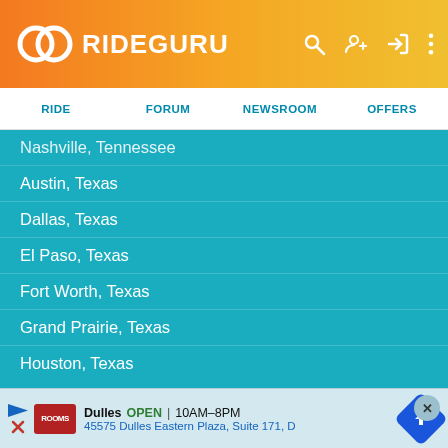RIDEGURU
RIDE | FORUM | NEWSROOM | OFFERS
Nashville, Tennessee
Austin, Texas
Dallas, Texas
El Paso, Texas
Fort Worth, Texas
Grand Prairie, Texas
Houston, Texas
San Antonio, Texas
Salt L...
Dulles  OPEN | 10AM–8PM  45575 Dulles Eastern Plaza, Suite 171, D